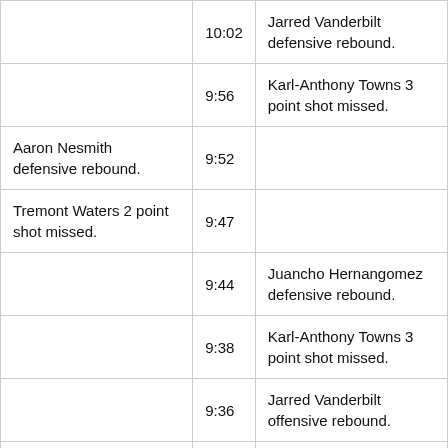| Home | Time | Away |
| --- | --- | --- |
|  | 10:02 | Jarred Vanderbilt defensive rebound. |
|  | 9:56 | Karl-Anthony Towns 3 point shot missed. |
| Aaron Nesmith defensive rebound. | 9:52 |  |
| Tremont Waters 2 point shot missed. | 9:47 |  |
|  | 9:44 | Juancho Hernangomez defensive rebound. |
|  | 9:38 | Karl-Anthony Towns 3 point shot missed. |
|  | 9:36 | Jarred Vanderbilt offensive rebound. |
|  | 9:24 | Juancho Hernangomez 3 point shot missed. |